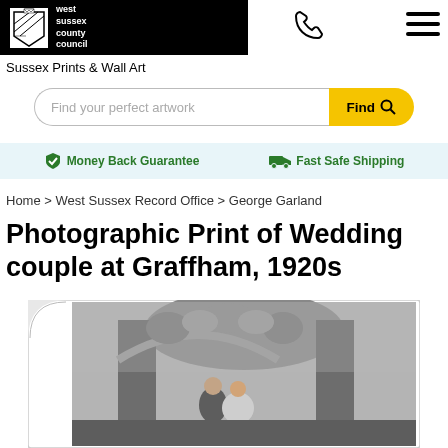[Figure (logo): West Sussex County Council logo — white shield with cross hatching on black background, with white text 'west sussex county council']
Sussex Prints & Wall Art
Find your perfect artwork
Money Back Guarantee   Fast Safe Shipping
Home > West Sussex Record Office > George Garland
Photographic Print of Wedding couple at Graffham, 1920s
[Figure (photo): Black and white photograph of a wedding couple standing under a stone arch decorated with foliage, Graffham, 1920s, shown with a curled corner effect]